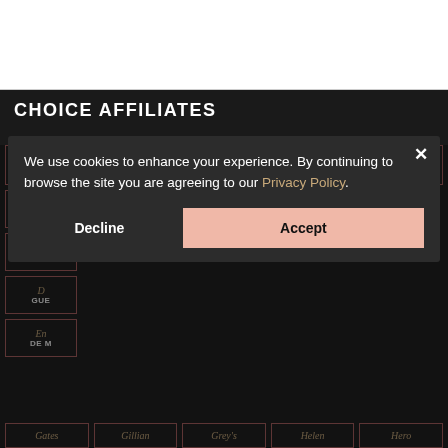CHOICE AFFILIATES
Aja Naomi KING
Alison BRIE
Alyssa MILANO
Amy ADAMS
Anya TAYLOR-JOY
Au... PI...
Chr... APPL...
D... GUE...
En... DE M...
Gates
Gillian
Grey's
Helen
Hero
We use cookies to enhance your experience. By continuing to browse the site you are agreeing to our Privacy Policy.
Decline
Accept